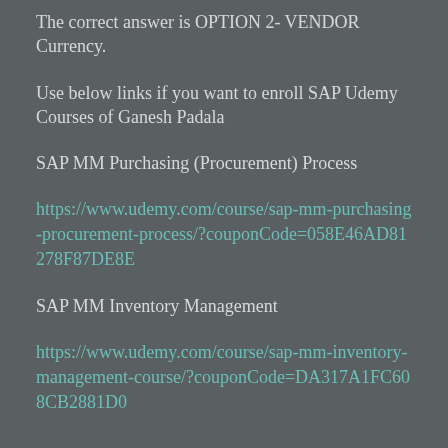The correct answer is OPTION 2- VENDOR Currency.
Use below links if you want to enroll SAP Udemy Courses of Ganesh Padala
SAP MM Purchasing (Procurement) Process
https://www.udemy.com/course/sap-mm-purchasing-procurement-process/?couponCode=058E46AD81278F87DE8E
SAP MM Inventory Management
https://www.udemy.com/course/sap-mm-inventory-management-course/?couponCode=DA317A1FC608CB2881D0